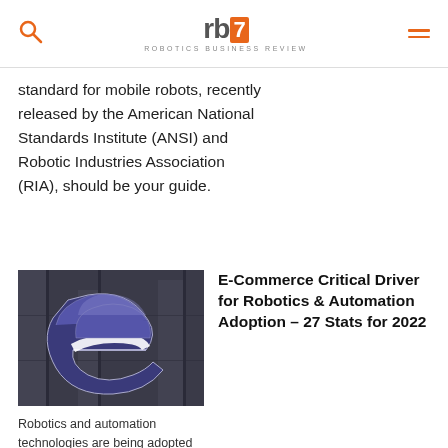rb7 ROBOTICS BUSINESS REVIEW — navigation bar with search and menu icons
standard for mobile robots, recently released by the American National Standards Institute (ANSI) and Robotic Industries Association (RIA), should be your guide.
[Figure (photo): Dark background image featuring a large stylized blue/purple letter 'e' logo, resembling an e-commerce or internet brand icon, with architectural or urban grey elements in the background.]
Robotics and automation technologies are being adopted at record rates, with
E-Commerce Critical Driver for Robotics & Automation Adoption – 27 Stats for 2022